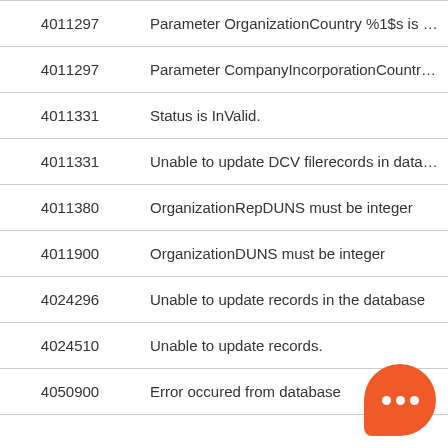| Code | Message |
| --- | --- |
| 4011297 | Parameter OrganizationCountry %1$s is not a valid ISO alpha-2 country |
| 4011297 | Parameter CompanyIncorporationCountry 0 is not a valid ISO alpha-2 country |
| 4011331 | Status is InValid. |
| 4011331 | Unable to update DCV filerecords in database |
| 4011380 | OrganizationRepDUNS must be integer |
| 4011900 | OrganizationDUNS must be integer |
| 4024296 | Unable to update records in the database |
| 4024510 | Unable to update records. |
| 4050900 | Error occured from database |